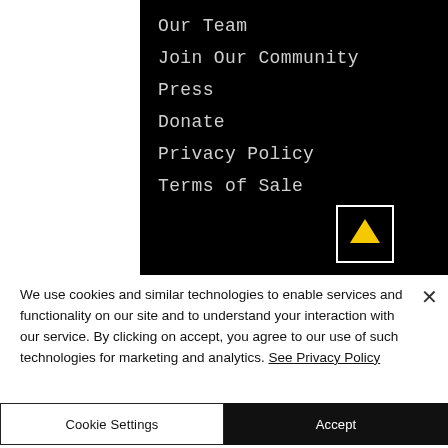Our Team
Join Our Community
Press
Donate
Privacy Policy
Terms of Sale
[Figure (other): Up arrow button in a white square box on black background]
We use cookies and similar technologies to enable services and functionality on our site and to understand your interaction with our service. By clicking on accept, you agree to our use of such technologies for marketing and analytics. See Privacy Policy
Cookie Settings
Accept